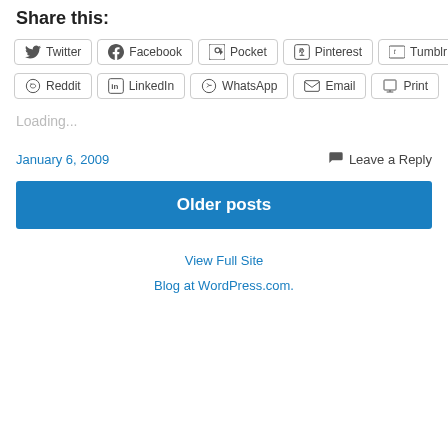Share this:
Twitter Facebook Pocket Pinterest Tumblr
Reddit LinkedIn WhatsApp Email Print
Loading...
January 6, 2009
Leave a Reply
Older posts
View Full Site
Blog at WordPress.com.